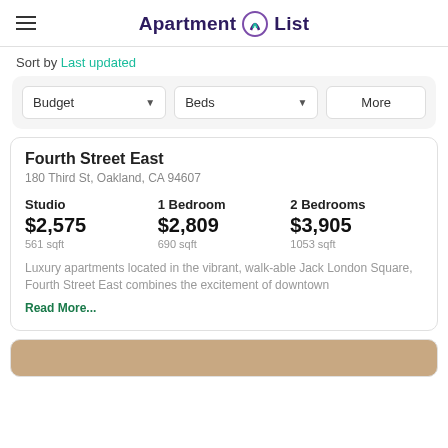Apartment List
Sort by Last updated
Budget   Beds   More
Fourth Street East
180 Third St, Oakland, CA 94607
| Studio | 1 Bedroom | 2 Bedrooms |
| --- | --- | --- |
| $2,575 | $2,809 | $3,905 |
| 561 sqft | 690 sqft | 1053 sqft |
Luxury apartments located in the vibrant, walk-able Jack London Square, Fourth Street East combines the excitement of downtown Read More...